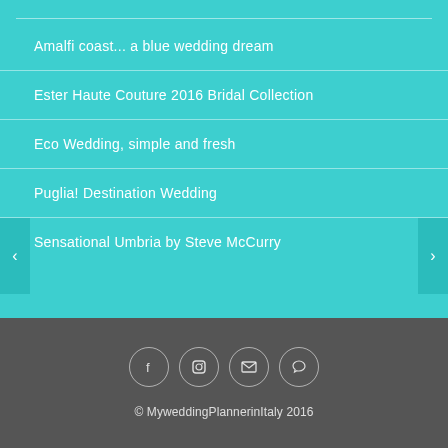Amalfi coast... a blue wedding dream
Ester Haute Couture 2016 Bridal Collection
Eco Wedding, simple and fresh
Puglia! Destination Wedding
Sensational Umbria by Steve McCurry
© MyweddingPlannerinItaly 2016